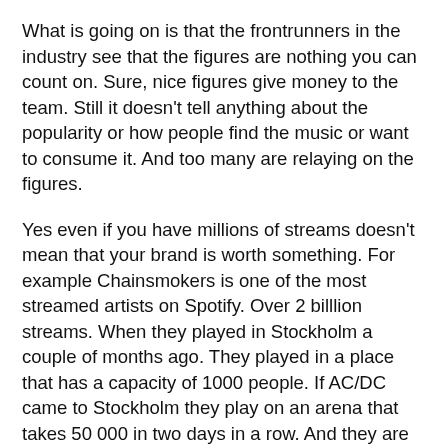What is going on is that the frontrunners in the industry see that the figures are nothing you can count on. Sure, nice figures give money to the team. Still it doesn't tell anything about the popularity or how people find the music or want to consume it. And too many are relaying on the figures.
Yes even if you have millions of streams doesn't mean that your brand is worth something. For example Chainsmokers is one of the most streamed artists on Spotify. Over 2 billlion streams. When they played in Stockholm a couple of months ago. They played in a place that has a capacity of 1000 people. If AC/DC came to Stockholm they play on an arena that takes 50 000 in two days in a row. And they are not even on Spotify. Sure in the end Chainsmokers will get there, but it will take them, years, if ever. And that they invest so much more in other fields. I wouldn't switch the money for the merchandise on one evening with AC/DC then the entire stream from Chainsmokers.
Since Spotify has taken control of most of the playlists. And it has become really hard to pitch to those lists. More and more are counting Spotify as an outlet, not a place where